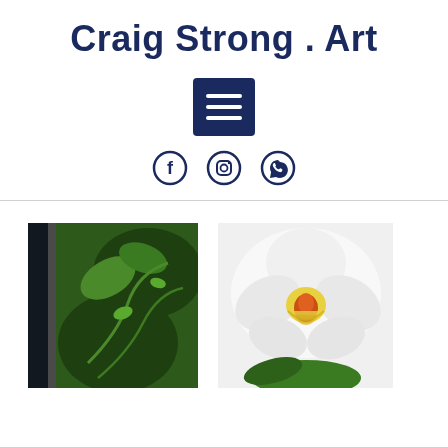Craig Strong . Art
[Figure (other): Hamburger menu icon - dark navy blue square with three white horizontal lines]
[Figure (other): Social media icons: Facebook, Instagram, WhatsApp - dark navy blue circle outlines]
[Figure (illustration): Artwork thumbnail: dark and green artwork with leaf/vine decorative illustration, black vertical stripe on left side]
[Figure (photo): Artwork thumbnail: close-up photo of a white orchid flower with yellow and red center on white background with green leaf]